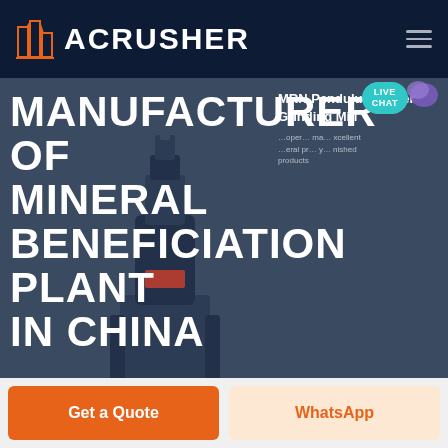ACRUSHER
[Figure (screenshot): ACRUSHER website hero banner showing 'MANUFACTURER OF MINERAL BENEFICIATION PLANT IN CHINA' with a grinding mill machine image and product overlay text 'MRN Pendulum Roller Grinding Mill']
MANUFACTURER OF MINERAL BENEFICIATION PLANT IN CHINA
MRN Pendulum Roller Grinding Mill
HOME / PRODUCTS
Get a Quote
WhatsApp